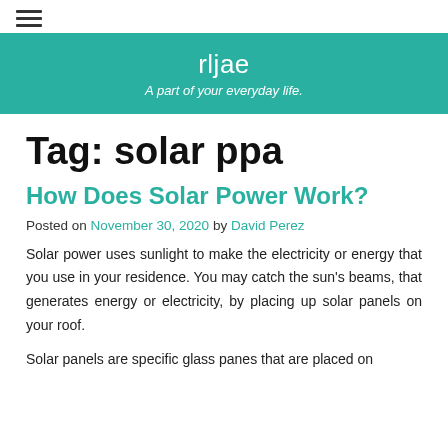≡
rljae
A part of your everyday life.
Tag: solar ppa
How Does Solar Power Work?
Posted on November 30, 2020 by David Perez
Solar power uses sunlight to make the electricity or energy that you use in your residence. You may catch the sun's beams, that generates energy or electricity, by placing up solar panels on your roof.
Solar panels are specific glass panes that are placed on